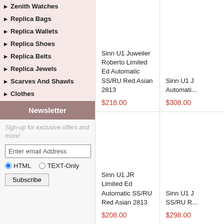Zenith Watches
Replica Bags
Replica Wallets
Replica Shoes
Replica Belts
Replica Jewels
Scarves And Shawls
Clothes
Newsletter
Sign-up for exclusive offers and more!
Sinn U1 Juweiler Roberto Limited Ed Automatic SS/RU Red Asian 2813
$218.00
Sinn U1 J Automati...
$308.00
Sinn U1 JR Limited Ed Automatic SS/RU Red Asian 2813
$208.00
Sinn U1 J SS/RU R...
$298.00